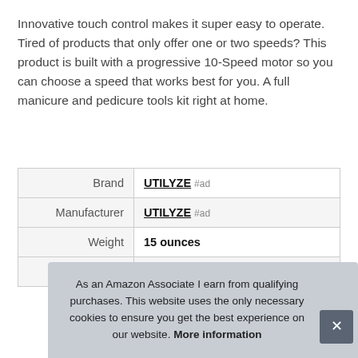Innovative touch control makes it super easy to operate. Tired of products that only offer one or two speeds? This product is built with a progressive 10-Speed motor so you can choose a speed that works best for you. A full manicure and pedicure tools kit right at home.
|  |  |
| --- | --- |
| Brand | UTILYZE #ad |
| Manufacturer | UTILYZE #ad |
| Weight | 15 ounces |
| Part Number | MPS-EFF |
As an Amazon Associate I earn from qualifying purchases. This website uses the only necessary cookies to ensure you get the best experience on our website. More information